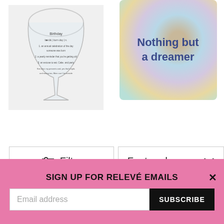[Figure (photo): Stemless wine glass with 'Birthday' definition text printed on it]
[Figure (photo): Tie-dye patterned pouch/bag with text 'Nothing but a dreamer' in dark blue bold font]
Filter
Featured
$ 14.99
$ 14.99
SIGN UP FOR RELEVÉ EMAILS
Email address
SUBSCRIBE